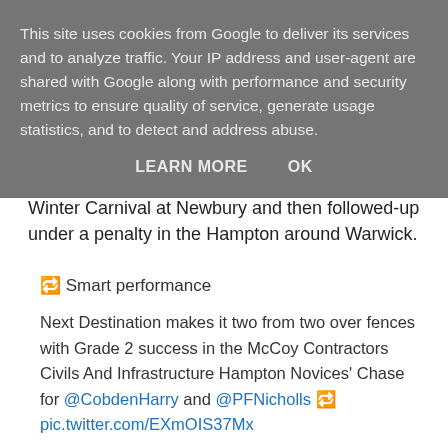This site uses cookies from Google to deliver its services and to analyze traffic. Your IP address and user-agent are shared with Google along with performance and security metrics to ensure quality of service, generate usage statistics, and to detect and address abuse.
LEARN MORE   OK
Winter Carnival at Newbury and then followed-up under a penalty in the Hampton around Warwick.
🔁 Smart performance
Next Destination makes it two from two over fences with Grade 2 success in the McCoy Contractors Civils And Infrastructure Hampton Novices' Chase for @CobdenHarry and @PFNicholls 🔁 pic.twitter.com/EXmOIS37Mx
— Warwick Racecourse (@WarwickRaces)